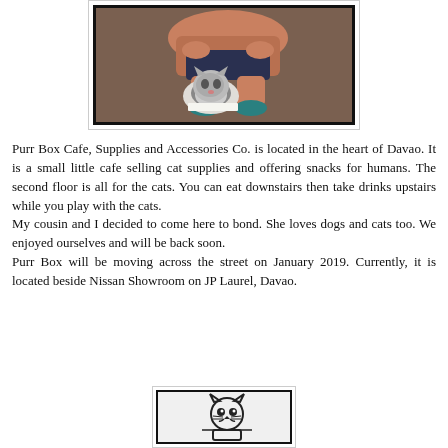[Figure (photo): A person sitting on the floor with a cat (black and white, flat-faced breed) in front of them. The photo has a dark border.]
Purr Box Cafe, Supplies and Accessories Co. is located in the heart of Davao. It is a small little cafe selling cat supplies and offering snacks for humans. The second floor is all for the cats. You can eat downstairs then take drinks upstairs while you play with the cats.
My cousin and I decided to come here to bond. She loves dogs and cats too. We enjoyed ourselves and will be back soon.
Purr Box will be moving across the street on January 2019. Currently, it is located beside Nissan Showroom on JP Laurel, Davao.
[Figure (illustration): A cartoon/illustration of a cat face on what appears to be a sign or logo, with a simple line-art style cat face.]